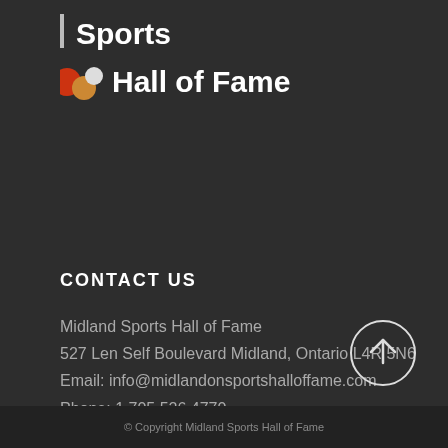[Figure (logo): Midland Sports Hall of Fame logo with vertical bar icon, two colored circles (red/orange and white), and text 'Sports Hall of Fame']
CONTACT US
Midland Sports Hall of Fame
527 Len Self Boulevard Midland, Ontario L4R 5N6
Email: info@midlandonsportshalloffame.com
Phone: 1.705.526.4770
[Figure (other): Circle button with upward arrow (back to top)]
© Copyright Midland Sports Hall of Fame